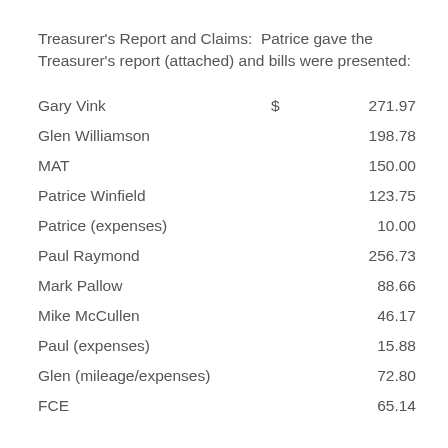Treasurer's Report and Claims:  Patrice gave the Treasurer's report (attached) and bills were presented:
| Name | $ | Amount |
| --- | --- | --- |
| Gary Vink | $ | 271.97 |
| Glen Williamson |  | 198.78 |
| MAT |  | 150.00 |
| Patrice Winfield |  | 123.75 |
| Patrice (expenses) |  | 10.00 |
| Paul Raymond |  | 256.73 |
| Mark Pallow |  | 88.66 |
| Mike McCullen |  | 46.17 |
| Paul (expenses) |  | 15.88 |
| Glen (mileage/expenses) |  | 72.80 |
| FCE |  | 65.14 |